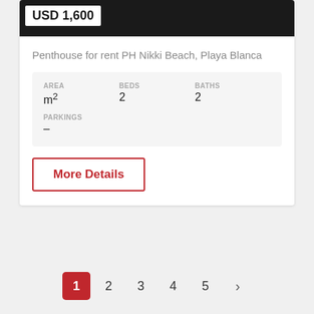[Figure (photo): Dark/brown wood texture photo at top of listing card with a price badge overlay showing USD 1,600]
USD 1,600
Penthouse for rent PH Nikki Beach, Playa Blanca
| AREA | BEDS | BATHS |
| --- | --- | --- |
| m² | 2 | 2 |
PARKINGS
–
More Details
1  2  3  4  5  >